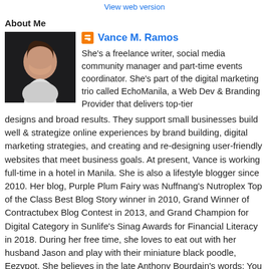View web version
About Me
[Figure (photo): Profile photo of Vance M. Ramos, a woman smiling, dark background]
Vance M. Ramos
She's a freelance writer, social media community manager and part-time events coordinator. She's part of the digital marketing trio called EchoManila, a Web Dev & Branding Provider that delivers top-tier designs and broad results. They support small businesses build well & strategize online experiences by brand building, digital marketing strategies, and creating and re-designing user-friendly websites that meet business goals. At present, Vance is working full-time in a hotel in Manila. She is also a lifestyle blogger since 2010. Her blog, Purple Plum Fairy was Nuffnang's Nutroplex Top of the Class Best Blog Story winner in 2010, Grand Winner of Contractubex Blog Contest in 2013, and Grand Champion for Digital Category in Sunlife's Sinag Awards for Financial Literacy in 2018. During her free time, she loves to eat out with her husband Jason and play with their miniature black poodle, Eezypot. She believes in the late Anthony Bourdain's words: You learn a lot about someone when you share a meal together.
View my complete profile